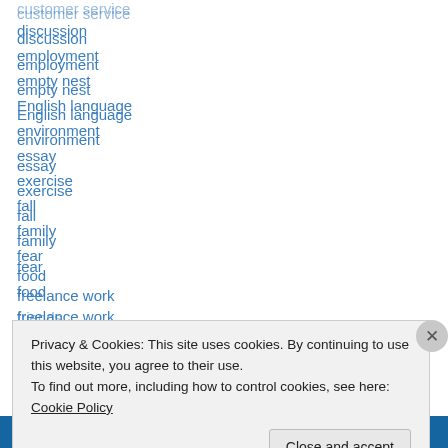customer service
discussion
employment
empty nest
English language
environment
essay
exercise
fall
family
fear
food
freelance work
friends
Privacy & Cookies: This site uses cookies. By continuing to use this website, you agree to their use.
To find out more, including how to control cookies, see here: Cookie Policy
Close and accept